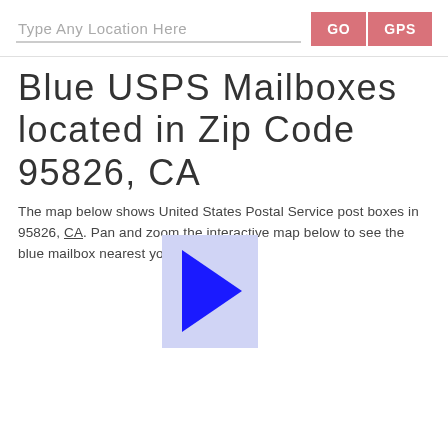Type Any Location Here   GO   GPS
Blue USPS Mailboxes located in Zip Code 95826, CA
The map below shows United States Postal Service post boxes in 95826, CA. Pan and zoom the interactive map below to see the blue mailbox nearest you.
[Figure (illustration): A blue and light-blue geometric arrow/triangle shape partially overlapping the text, representing a map navigation marker or cursor icon.]